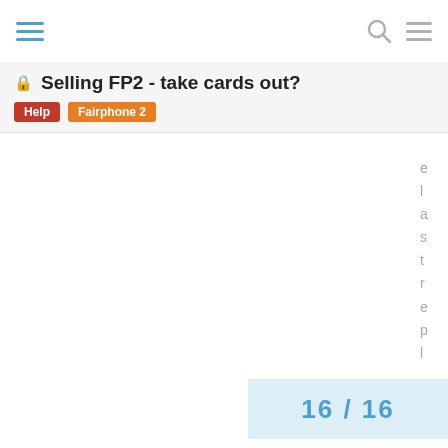Navigation bar with hamburger menu, search icon, and menu icon
🔒 Selling FP2 - take cards out?
Help   Fairphone 2
e l a s t r e p l y .
16 / 16